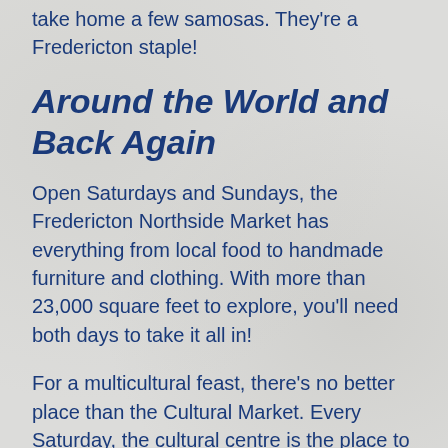take home a few samosas. They're a Fredericton staple!
Around the World and Back Again
Open Saturdays and Sundays, the Fredericton Northside Market has everything from local food to handmade furniture and clothing. With more than 23,000 square feet to explore, you'll need both days to take it all in!
For a multicultural feast, there's no better place than the Cultural Market. Every Saturday, the cultural centre is the place to go to fix every craving you might have! You